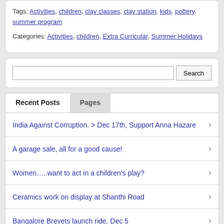Tags: Activities, children, clay classes, clay station, kids, pottery, summer program
Categories: Activities, children, Extra Curricular, Summer Holidays
Search
Recent Posts
Pages
India Against Corruption. > Dec 17th, Support Anna Hazare
A garage sale, all for a good cause!
Women…..want to act in a children's play?
Ceramics work on display at Shanthi Road
Bangalore Brevets launch ride, Dec 5